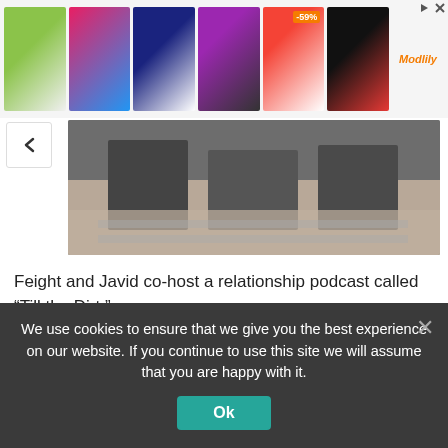[Figure (photo): Advertisement banner showing six women's clothing items (colorful tops, dresses) with a -59% badge and Modlily logo]
[Figure (photo): Partial photo of two people sitting outdoors on patio furniture with a decorative rug, cropped at top]
Feight and Javid co-host a relationship podcast called “Till the Dirt.”
mercedesjavid/Instagram
“‘Till the Dirt’ is a place where the two of us come together to retrace steps about our life that we’re obviously so open and shameless and proud of, all the ups and downs. We
We use cookies to ensure that we give you the best experience on our website. If you continue to use this site we will assume that you are happy with it.